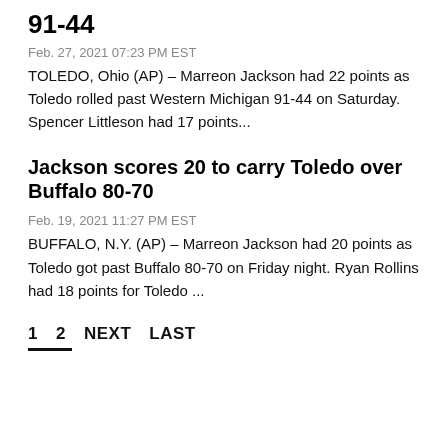91-44
Feb. 27, 2021 07:23 PM EST
TOLEDO, Ohio (AP) – Marreon Jackson had 22 points as Toledo rolled past Western Michigan 91-44 on Saturday. Spencer Littleson had 17 points...
Jackson scores 20 to carry Toledo over Buffalo 80-70
Feb. 19, 2021 11:27 PM EST
BUFFALO, N.Y. (AP) – Marreon Jackson had 20 points as Toledo got past Buffalo 80-70 on Friday night. Ryan Rollins had 18 points for Toledo ...
1   2   NEXT   LAST